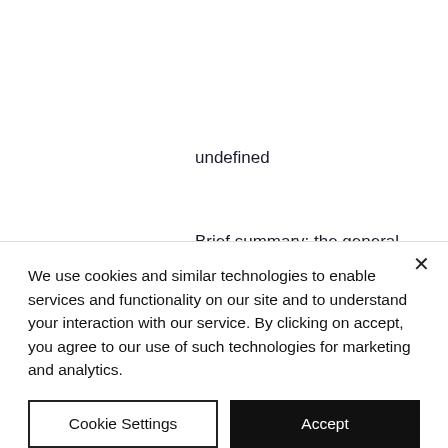undefined
Brief summary: the general hypothesis is that administration of testosterone to healthy, older men for 52 weeks (1 year) following a cycle of 4 weeks of. 6 weeks cutting steroid cycle. The winstrol cycle for cutting is used along with testosterone which yields the best outcomes. Tags: anavar, sarms, winstrol,. D-bal: take one
We use cookies and similar technologies to enable services and functionality on our site and to understand your interaction with our service. By clicking on accept, you agree to our use of such technologies for marketing and analytics.
Cookie Settings
Accept